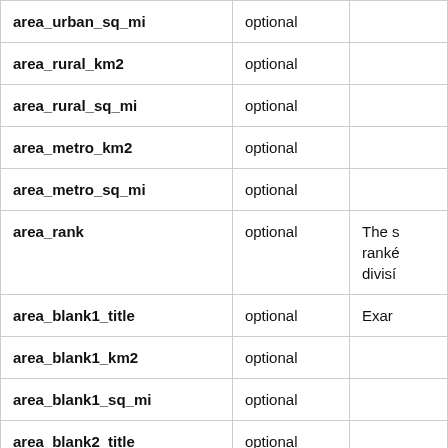| Field | Status | Notes |
| --- | --- | --- |
| area_urban_sq_mi | optional |  |
| area_rural_km2 | optional |  |
| area_rural_sq_mi | optional |  |
| area_metro_km2 | optional |  |
| area_metro_sq_mi | optional |  |
| area_rank | optional | The s ranké divisí |
| area_blank1_title | optional | Exar |
| area_blank1_km2 | optional |  |
| area_blank1_sq_mi | optional |  |
| area_blank2_title | optional |  |
| area_blank2_km2 | optional |  |
| area_blank2_sq_mi | optional |  |